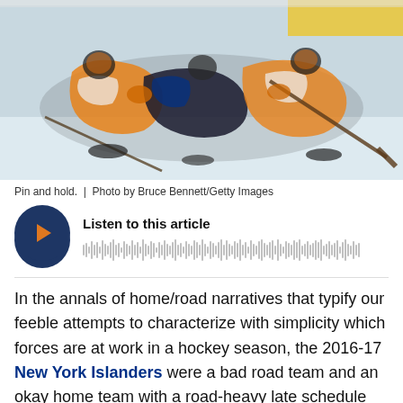[Figure (photo): Hockey players pinned and falling on ice, players wearing orange/blue (Philadelphia Flyers and New York Islanders) jerseys, boards visible in background]
Pin and hold.  |  Photo by Bruce Bennett/Getty Images
[Figure (other): Audio player widget with dark blue circular play button with orange play icon and waveform bars. Title: Listen to this article]
In the annals of home/road narratives that typify our feeble attempts to characterize with simplicity which forces are at work in a hockey season, the 2016-17 New York Islanders were a bad road team and an okay home team with a road-heavy late schedule that would be their undoing.